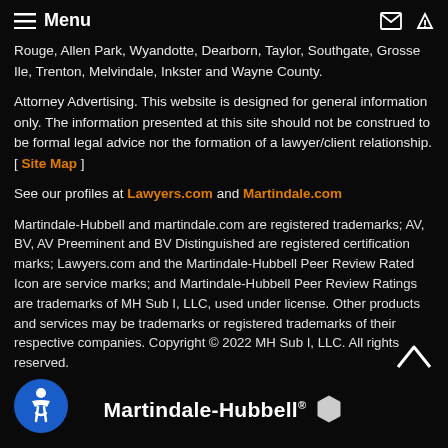≡ Menu
Rouge, Allen Park, Wyandotte, Dearborn, Taylor, Southgate, Grosse Ile, Trenton, Melvindale, Inkster and Wayne County.
Attorney Advertising. This website is designed for general information only. The information presented at this site should not be construed to be formal legal advice nor the formation of a lawyer/client relationship. [ Site Map ]
See our profiles at Lawyers.com and Martindale.com
Martindale-Hubbell and martindale.com are registered trademarks; AV, BV, AV Preeminent and BV Distinguished are registered certification marks; Lawyers.com and the Martindale-Hubbell Peer Review Rated Icon are service marks; and Martindale-Hubbell Peer Review Ratings are trademarks of MH Sub I, LLC, used under license. Other products and services may be trademarks or registered trademarks of their respective companies. Copyright © 2022 MH Sub I, LLC. All rights reserved.
[Figure (logo): Martindale-Hubbell logo with hexagon icon and accessibility icon]